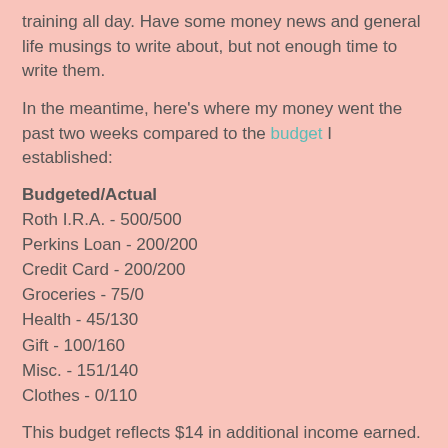training all day. Have some money news and general life musings to write about, but not enough time to write them.
In the meantime, here's where my money went the past two weeks compared to the budget I established:
Budgeted/Actual
Roth I.R.A. - 500/500
Perkins Loan - 200/200
Credit Card - 200/200
Groceries - 75/0
Health - 45/130
Gift - 100/160
Misc. - 151/140
Clothes - 0/110
This budget reflects $14 in additional income earned.
I managed to get some great gifts for my husband and brother (who is deployed for Christmas). And I got some new work clothes since it is freeeeezing out.